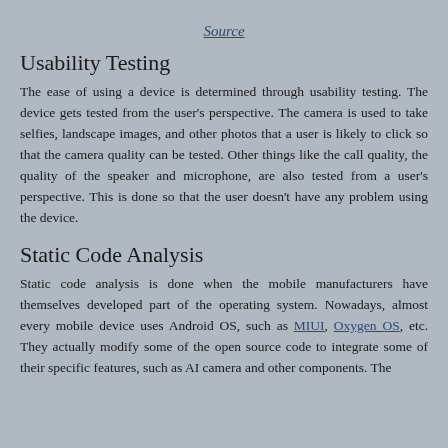Source
Usability Testing
The ease of using a device is determined through usability testing. The device gets tested from the user's perspective. The camera is used to take selfies, landscape images, and other photos that a user is likely to click so that the camera quality can be tested. Other things like the call quality, the quality of the speaker and microphone, are also tested from a user's perspective. This is done so that the user doesn't have any problem using the device.
Static Code Analysis
Static code analysis is done when the mobile manufacturers have themselves developed part of the operating system. Nowadays, almost every mobile device uses Android OS, such as MIUI, Oxygen OS, etc. They actually modify some of the open source code to integrate some of their specific features, such as AI camera and other components. The...